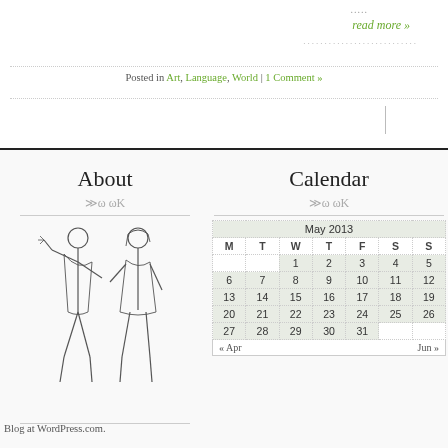.....
read more »
.....................
Posted in Art, Language, World | 1 Comment »
About
[Figure (illustration): Line drawing of a man and woman standing, the man waving with his right hand]
Calendar
| M | T | W | T | F | S | S |
| --- | --- | --- | --- | --- | --- | --- |
|  |  | 1 | 2 | 3 | 4 | 5 |
| 6 | 7 | 8 | 9 | 10 | 11 | 12 |
| 13 | 14 | 15 | 16 | 17 | 18 | 19 |
| 20 | 21 | 22 | 23 | 24 | 25 | 26 |
| 27 | 28 | 29 | 30 | 31 |  |  |
Blog at WordPress.com.